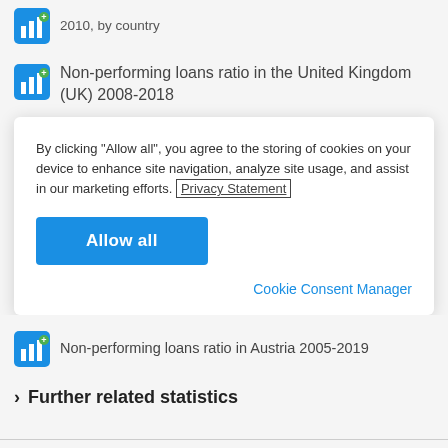2010, by country
Non-performing loans ratio in the United Kingdom (UK) 2008-2018
By clicking “Allow all”, you agree to the storing of cookies on your device to enhance site navigation, analyze site usage, and assist in our marketing efforts. Privacy Statement
Allow all
Cookie Consent Manager
Non-performing loans ratio in Austria 2005-2019
Further related statistics